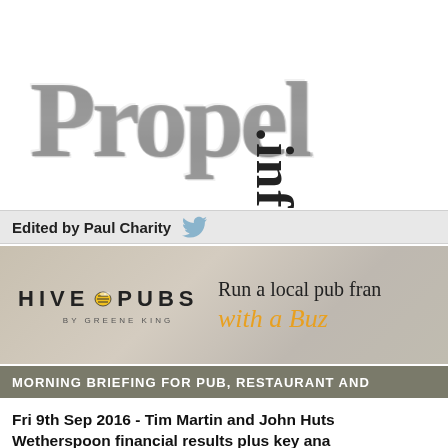Propel.info
Edited by Paul Charity
[Figure (illustration): Hive Pubs by Greene King advertisement banner. Left side shows 'HIVE PUBS BY GREENE KING' logo with honeycomb bee graphic. Right side shows text 'Run a local pub franchise with a Buzz' in serif and italic orange script font.]
MORNING BRIEFING FOR PUB, RESTAURANT AND
Fri 9th Sep 2016 - Tim Martin and John Hutson on Wetherspoon financial results plus key analysis